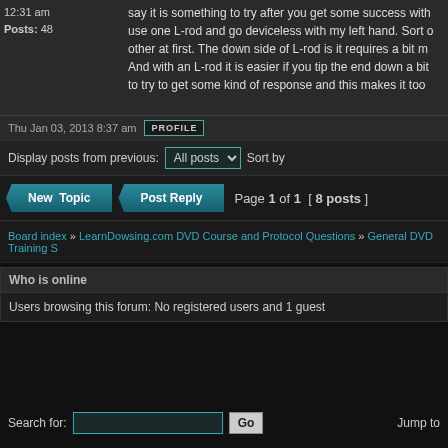12:31 am
Posts: 48
say it is something to try after you get some success with... use one L-rod and go deviceless with my left hand. Sort o... other at first. The down side of L-rod is it requires a bit m... And with an L-rod it is easier if you tip the end down a bit... to try to get some kind of response and this makes it too...
Thu Jan 03, 2013 8:37 am  PROFILE
Display posts from previous:  All posts  Sort by
New Topic  Post Reply  Page 1 of 1  [ 8 posts ]
Board index » LearnDowsing.com DVD Course and Protocol Questions » General DVD Training S...
Who is online
Users browsing this forum: No registered users and 1 guest
Search for:  [input]  Go  Jump to...